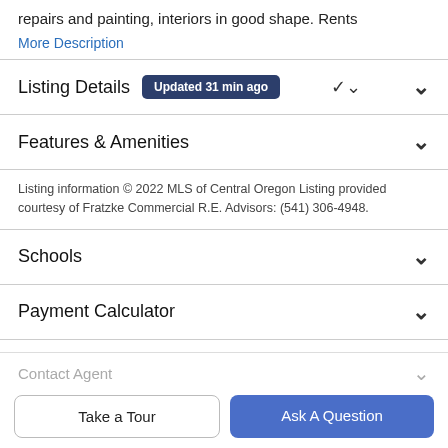repairs and painting, interiors in good shape. Rents
More Description
Listing Details  Updated 31 min ago
Features & Amenities
Listing information © 2022 MLS of Central Oregon Listing provided courtesy of Fratzke Commercial R.E. Advisors: (541) 306-4948.
Schools
Payment Calculator
Contact Agent
Take a Tour
Ask A Question